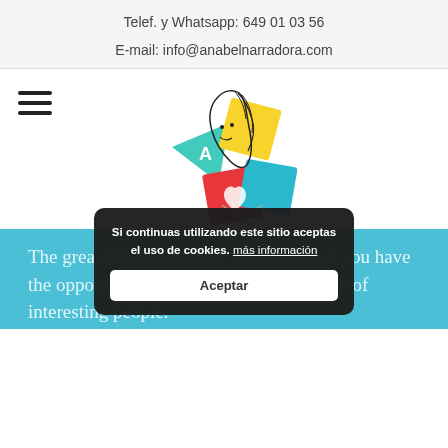Telef. y Whatsapp: 649 01 03 56
E-mail: info@anabelnarradora.com
[Figure (logo): Anabel Gandullo narradora logo with illustrated face and colorful geometric diamond shapes (teal, yellow, red, blue triangles and diamonds), with text ANABEL GANDULLO narradora below]
The great thing about this website is that you have the opportunity to consult with a selection of interesting people.
Si continuas utilizando este sitio aceptas el uso de cookies. más información
Aceptar